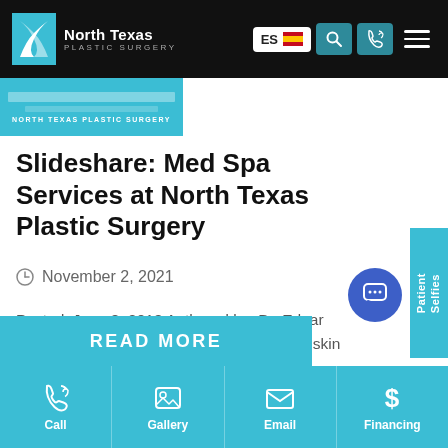[Figure (screenshot): North Texas Plastic Surgery website navigation bar with logo, ES language toggle with Mexican flag, search icon, phone icon, and hamburger menu]
[Figure (photo): Thumbnail image strip showing North Texas Plastic Surgery branding in teal]
Slideshare: Med Spa Services at North Texas Plastic Surgery
November 2, 2021
Posted: June 8, 2018 Authored by: Dr. Edgar Bedolla If you're looking to rejuvenate your skin reduce the signs of...
READ MORE
Call  Gallery  Email  Financing